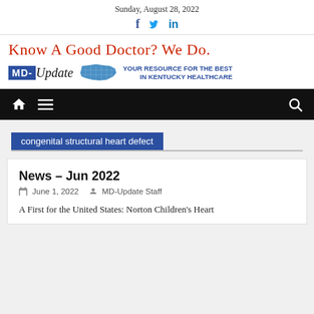Sunday, August 28, 2022
[Figure (logo): Social media icons: Facebook, Twitter, LinkedIn]
[Figure (logo): MD-Update logo with tagline 'Know A Good Doctor? We Do.' and 'YOUR RESOURCE FOR THE BEST IN KENTUCKY HEALTHCARE' with Kentucky map graphic]
[Figure (screenshot): Navigation bar with home icon, menu icon, and search icon on black background]
congenital structural heart defect
News – Jun 2022
June 1, 2022   MD-Update Staff
A First for the United States: Norton Children's Heart